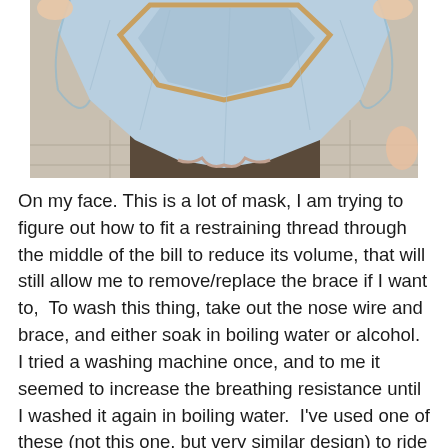[Figure (photo): A close-up overhead photo of a person wearing a large homemade face mask/shield made of light blue denim-like fabric with a wooden frame structure. The mask is very voluminous and held up over the person's face. The background shows a tiled floor.]
On my face. This is a lot of mask, I am trying to figure out how to fit a restraining thread through the middle of the bill to reduce its volume, that will still allow me to remove/replace the brace if I want to,  To wash this thing, take out the nose wire and brace, and either soak in boiling water or alcohol.  I tried a washing machine once, and to me it seemed to increase the breathing resistance until I washed it again in boiling water.  I've used one of these (not this one, but very similar design) to ride a bicycle for miles, etc. and they work well the rest...